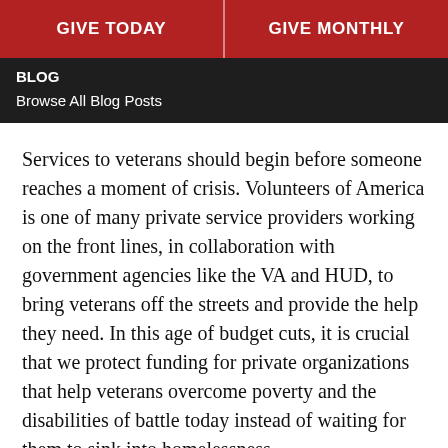GIVE TODAY | GIVE MONTHLY
BLOG
Browse All Blog Posts
Services to veterans should begin before someone reaches a moment of crisis. Volunteers of America is one of many private service providers working on the front lines, in collaboration with government agencies like the VA and HUD, to bring veterans off the streets and provide the help they need. In this age of budget cuts, it is crucial that we protect funding for private organizations that help veterans overcome poverty and the disabilities of battle today instead of waiting for them to sink into homelessness.